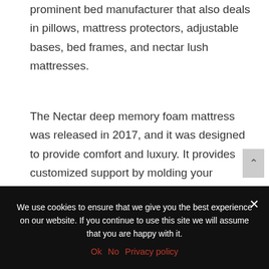prominent bed manufacturer that also deals in pillows, mattress protectors, adjustable bases, bed frames, and nectar lush mattresses.
The Nectar deep memory foam mattress was released in 2017, and it was designed to provide comfort and luxury. It provides customized support by molding your pressure points and eliminating body discomforts, excess heat, and motion
We use cookies to ensure that we give you the best experience on our website. If you continue to use this site we will assume that you are happy with it.
Ok   No   Privacy policy